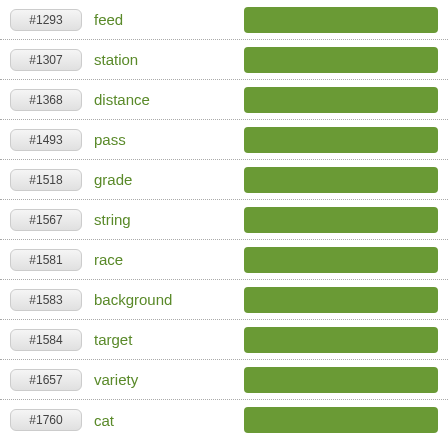#1293 feed
#1307 station
#1368 distance
#1493 pass
#1518 grade
#1567 string
#1581 race
#1583 background
#1584 target
#1657 variety
#1760 cat